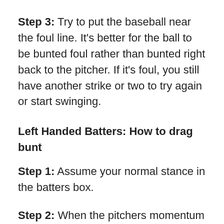Step 3: Try to put the baseball near the foul line.  It's better for the ball to be bunted foul rather than bunted right back to the pitcher. If it's foul, you still have another strike or two to try again or start swinging.
Left Handed Batters: How to drag bunt
Step 1: Assume your normal stance in the batters box.
Step 2: When the pitchers momentum and arm are starting to come towards home plate, set your bat angle by sliding your left